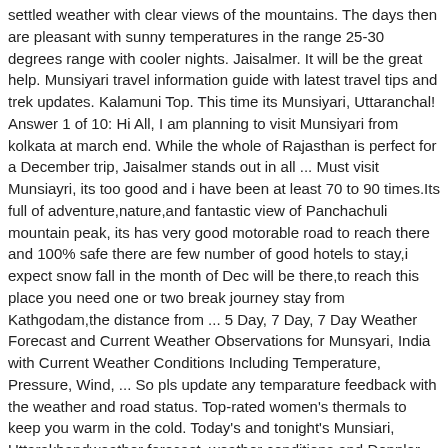settled weather with clear views of the mountains. The days then are pleasant with sunny temperatures in the range 25-30 degrees range with cooler nights. Jaisalmer. It will be the great help. Munsiyari travel information guide with latest travel tips and trek updates. Kalamuni Top. This time its Munsiyari, Uttaranchal! Answer 1 of 10: Hi All, I am planning to visit Munsiyari from kolkata at march end. While the whole of Rajasthan is perfect for a December trip, Jaisalmer stands out in all ... Must visit Munsiayri, its too good and i have been at least 70 to 90 times.Its full of adventure,nature,and fantastic view of Panchachuli mountain peak, its has very good motorable road to reach there and 100% safe there are few number of good hotels to stay,i expect snow fall in the month of Dec will be there,to reach this place you need one or two break journey stay from Kathgodam,the distance from ... 5 Day, 7 Day, 7 Day Weather Forecast and Current Weather Observations for Munsyari, India with Current Weather Conditions Including Temperature, Pressure, Wind, ... So pls update any temparature feedback with the weather and road status. Top-rated women's thermals to keep you warm in the cold. Today's and tonight's Munsiari, Uttarakhandweather forecast, weather conditions and Doppler radar from The Weather Channel and Weather.com Tomorrow: +13..+9 °C, without precipitation, gentle breeze. March, April, September & October: 15 to 25 ° on most days. Summer season in the city during March to June experience maximum temperature ranges around 27°C.. Monsoon season in the city during July to September experience heavy